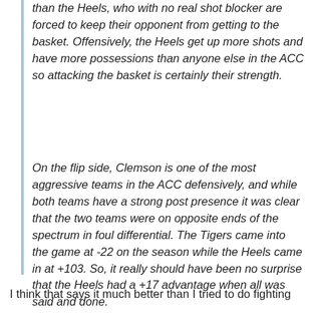than the Heels, who with no real shot blocker are forced to keep their opponent from getting to the basket. Offensively, the Heels get up more shots and have more possessions than anyone else in the ACC so attacking the basket is certainly their strength.
On the flip side, Clemson is one of the most aggressive teams in the ACC defensively, and while both teams have a strong post presence it was clear that the two teams were on opposite ends of the spectrum in foul differential. The Tigers came into the game at -22 on the season while the Heels came in at +103. So, it really should have been no surprise that the Heels had a +17 advantage when all was said and done.
I think that says it much better than I tried to do fighting